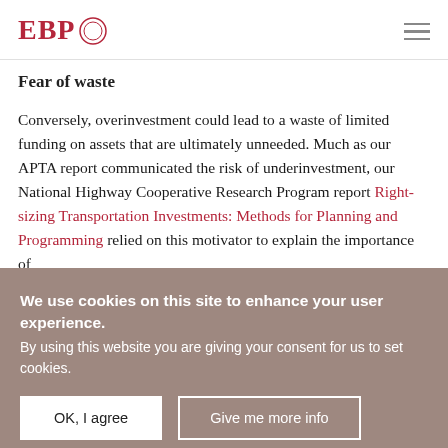EBP [logo with circle graphic] [hamburger menu icon]
Fear of waste
Conversely, overinvestment could lead to a waste of limited funding on assets that are ultimately unneeded. Much as our APTA report communicated the risk of underinvestment, our National Highway Cooperative Research Program report Right-sizing Transportation Investments: Methods for Planning and Programming relied on this motivator to explain the importance of
We use cookies on this site to enhance your user experience.
By using this website you are giving your consent for us to set cookies.
OK, I agree
Give me more info